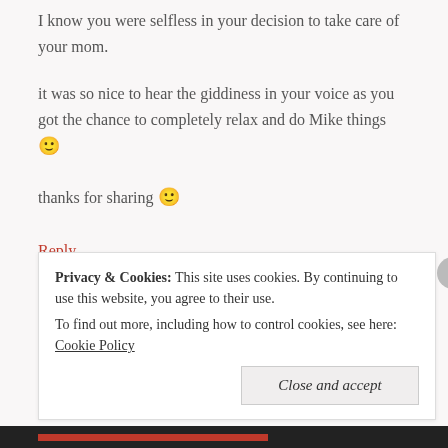I know you were selfless in your decision to take care of your mom.
it was so nice to hear the giddiness in your voice as you got the chance to completely relax and do Mike things 🙂
thanks for sharing 🙂
Reply
[Figure (photo): Small circular avatar/profile photo of a person]
Privacy & Cookies: This site uses cookies. By continuing to use this website, you agree to their use. To find out more, including how to control cookies, see here: Cookie Policy
Close and accept